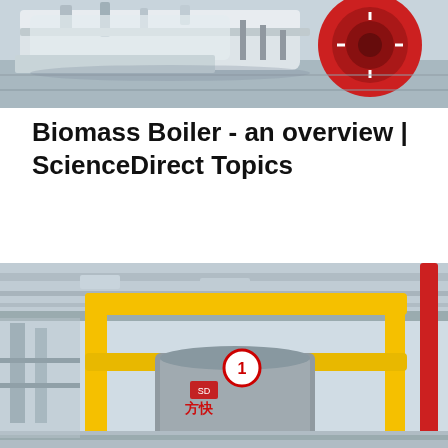[Figure (photo): Industrial biomass boiler equipment photographed in a facility, showing mechanical components with a red motor/burner on the right side.]
Biomass Boiler - an overview | ScienceDirect Topics
Esa Kari Vakkilainen, in Steam Generation from Biomass, 2017. 3.5.3 Steam–Water System. Heat receiving media in most biomass boilers consist of a steam–water mixture. The steam–water system consists of components that ar…
[Figure (photo): Interior view of what appears to be a bus or public transit vehicle, showing yellow handrails, a turnstile/barrier with the number 1 on it, and Chinese characters (方快) on the headrest, in an industrial facility setting.]